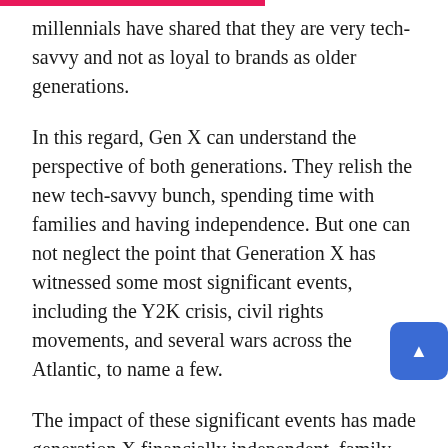millennials have shared that they are very tech-savvy and not as loyal to brands as older generations.
In this regard, Gen X can understand the perspective of both generations. They relish the new tech-savvy bunch, spending time with families and having independence. But one can not neglect the point that Generation X has witnessed some most significant events, including the Y2K crisis, civil rights movements, and several wars across the Atlantic, to name a few.
The impact of these significant events has made generation X financially independent, family-oriented, and self-reliant. However, we may neglect that, but Gen X's effect on the economy and the workplace is hard to ig
Stats On Gen X